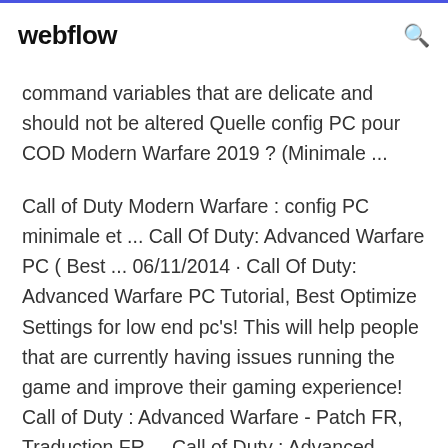webflow
command variables that are delicate and should not be altered Quelle config PC pour COD Modern Warfare 2019 ? (Minimale ...
Call of Duty Modern Warfare : config PC minimale et ... Call Of Duty: Advanced Warfare PC ( Best ... 06/11/2014 · Call Of Duty: Advanced Warfare PC Tutorial, Best Optimize Settings for low end pc's! This will help people that are currently having issues running the game and improve their gaming experience! Call of Duty : Advanced Warfare - Patch FR, Traduction FR ... Call of Duty : Advanced Warfare patch fr PC, COD Advanced Warfare COD AW trad fr, Call of